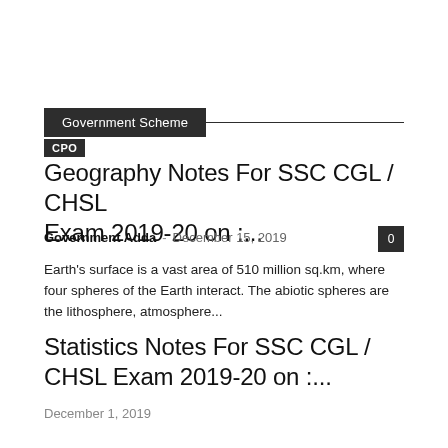Government Scheme
CPO
Geography Notes For SSC CGL / CHSL Exam 2019-20 on :...
Government Adda – December 15, 2019
Earth's surface is a vast area of 510 million sq.km, where four spheres of the Earth interact. The abiotic spheres are the lithosphere, atmosphere...
Statistics Notes For SSC CGL / CHSL Exam 2019-20 on :...
December 1, 2019